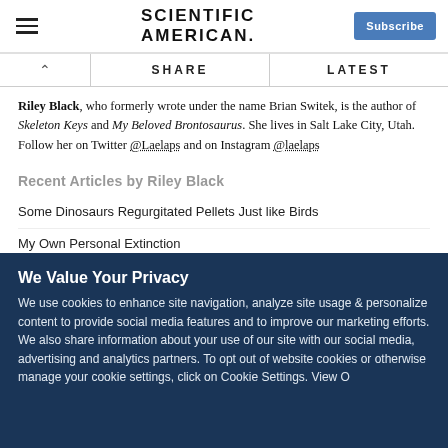Scientific American. Subscribe.
Riley Black, who formerly wrote under the name Brian Switek, is the author of Skeleton Keys and My Beloved Brontosaurus. She lives in Salt Lake City, Utah. Follow her on Twitter @Laelaps and on Instagram @laelaps
Recent Articles by Riley Black
Some Dinosaurs Regurgitated Pellets Just like Birds
My Own Personal Extinction
Saber-Toothed Protomammal was a Quick Healer
We Value Your Privacy
We use cookies to enhance site navigation, analyze site usage & personalize content to provide social media features and to improve our marketing efforts. We also share information about your use of our site with our social media, advertising and analytics partners. To opt out of website cookies or otherwise manage your cookie settings, click on Cookie Settings. View O...